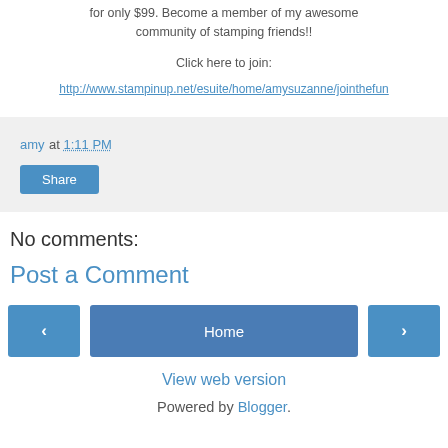for only $99. Become a member of my awesome community of stamping friends!!
Click here to join:
http://www.stampinup.net/esuite/home/amysuzanne/jointhefun
amy at 1:11 PM
Share
No comments:
Post a Comment
‹
Home
›
View web version
Powered by Blogger.